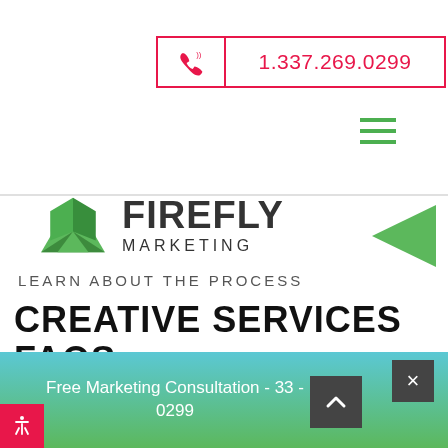[Figure (logo): Phone number bar with red border showing phone icon and number 1.337.269.0299]
[Figure (logo): Firefly Marketing logo with green geometric icon and text FIREFLY MARKETING with hamburger menu]
LEARN ABOUT THE PROCESS
CREATIVE SERVICES FAQS
Free Marketing Consultation - 33 - 0299